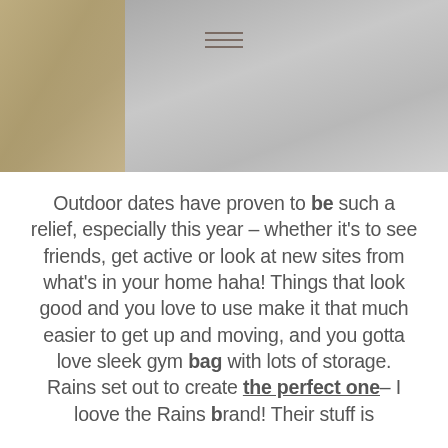[Figure (photo): Photo of a person wearing a grey hoodie/sweatshirt outdoors, with greenery visible on the left side. A hamburger menu icon is visible near the top center of the image.]
Outdoor dates have proven to be such a relief, especially this year – whether it's to see friends, get active or look at new sites from what's in your home haha! Things that look good and you love to use make it that much easier to get up and moving, and you gotta love sleek gym bag with lots of storage. Rains set out to create the perfect one– I loove the Rains brand! Their stuff is